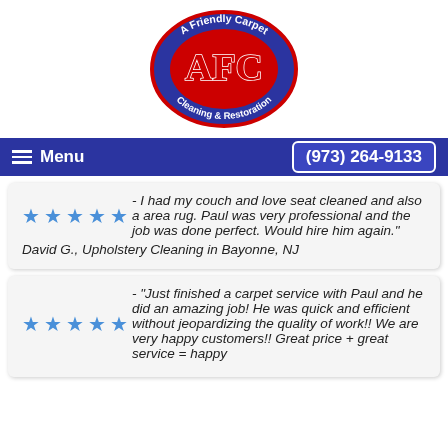[Figure (logo): A Friendly Carpet AFC Cleaning & Restoration oval logo — blue oval with red AFC letters and white text around the border]
Menu   (973) 264-9133
★★★★★ - I had my couch and love seat cleaned and also a area rug. Paul was very professional and the job was done perfect. Would hire him again."
David G., Upholstery Cleaning in Bayonne, NJ
★★★★★ - "Just finished a carpet service with Paul and he did an amazing job! He was quick and efficient without jeopardizing the quality of work!! We are very happy customers!! Great price + great service = happy